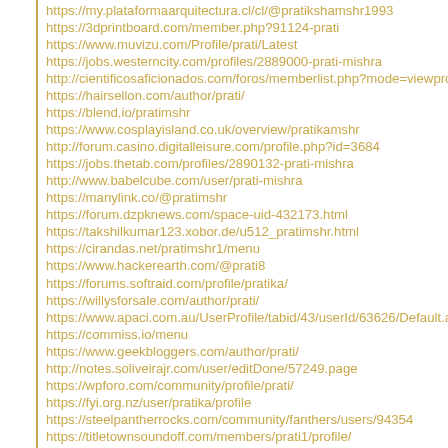https://my.plataformaarquitectura.cl/cl/@pratikshamshr1993
https://3dprintboard.com/member.php?91124-prati
https://www.muvizu.com/Profile/prati/Latest
https://jobs.westerncity.com/profiles/2889000-prati-mishra
http://cientificosaficionados.com/foros/memberlist.php?mode=viewprofile
https://hairsellon.com/author/prati/
https://blend.io/pratimshr
https://www.cosplayisland.co.uk/overview/pratikamshr
http://forum.casino.digitalleisure.com/profile.php?id=3684
https://jobs.thetab.com/profiles/2890132-prati-mishra
http://www.babelcube.com/user/prati-mishra
https://manylink.co/@pratimshr
https://forum.dzpknews.com/space-uid-432173.html
https://takshilkumar123.xobor.de/u512_pratimshr.html
https://cirandas.net/pratimshr1/menu
https://www.hackerearth.com/@prati8
https://forums.softraid.com/profile/pratika/
https://willysforsale.com/author/prati/
https://www.apaci.com.au/UserProfile/tabid/43/userId/63626/Default.asp
https://commiss.io/menu
https://www.geekbloggers.com/author/prati/
http://notes.soliveirajr.com/user/editDone/57249.page
https://wpforo.com/community/profile/prati/
https://fyi.org.nz/user/pratika/profile
https://steelpantherrocks.com/community/fanthers/users/94354
https://titletownsoundoff.com/members/prati1/profile/
http://www.biblesupport.com/user/551707-prati1/
https://www.aphorismsgalore.com/users/prati09